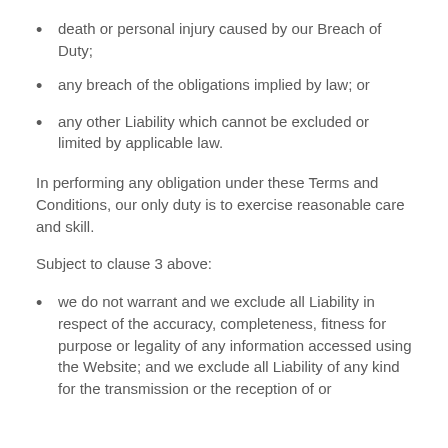death or personal injury caused by our Breach of Duty;
any breach of the obligations implied by law; or
any other Liability which cannot be excluded or limited by applicable law.
In performing any obligation under these Terms and Conditions, our only duty is to exercise reasonable care and skill.
Subject to clause 3 above:
we do not warrant and we exclude all Liability in respect of the accuracy, completeness, fitness for purpose or legality of any information accessed using the Website; and we exclude all Liability of any kind for the transmission or the reception of or